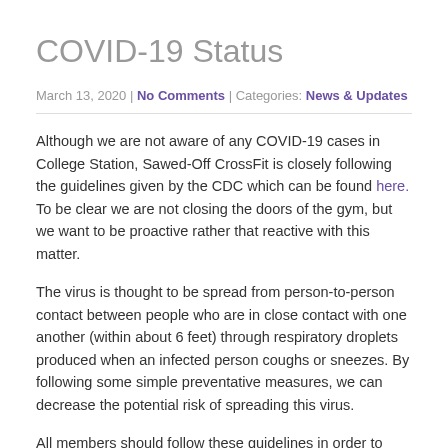COVID-19 Status
March 13, 2020 | No Comments | Categories: News & Updates
Although we are not aware of any COVID-19 cases in College Station, Sawed-Off CrossFit is closely following the guidelines given by the CDC which can be found here. To be clear we are not closing the doors of the gym, but we want to be proactive rather that reactive with this matter.
The virus is thought to be spread from person-to-person contact between people who are in close contact with one another (within about 6 feet) through respiratory droplets produced when an infected person coughs or sneezes. By following some simple preventative measures, we can decrease the potential risk of spreading this virus.
All members should follow these guidelines in order to keep SOCF's community healthy: